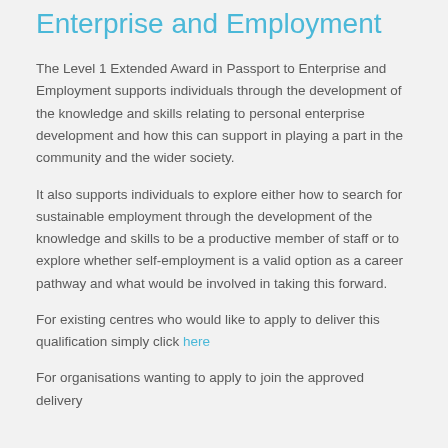Enterprise and Employment
The Level 1 Extended Award in Passport to Enterprise and Employment supports individuals through the development of the knowledge and skills relating to personal enterprise development and how this can support in playing a part in the community and the wider society.
It also supports individuals to explore either how to search for sustainable employment through the development of the knowledge and skills to be a productive member of staff or to explore whether self-employment is a valid option as a career pathway and what would be involved in taking this forward.
For existing centres who would like to apply to deliver this qualification simply click here
For organisations wanting to apply to join the approved delivery